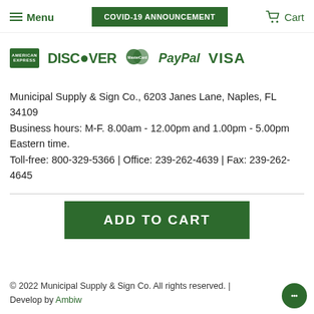Menu | COVID-19 ANNOUNCEMENT | Cart
[Figure (logo): Payment method logos: American Express, Discover, MasterCard, PayPal, Visa]
Municipal Supply & Sign Co., 6203 Janes Lane, Naples, FL 34109
Business hours: M-F. 8.00am - 12.00pm and 1.00pm - 5.00pm Eastern time.
Toll-free: 800-329-5366 | Office: 239-262-4639 | Fax: 239-262-4645
ADD TO CART
© 2022 Municipal Supply & Sign Co. All rights reserved. | Develop by Ambiw